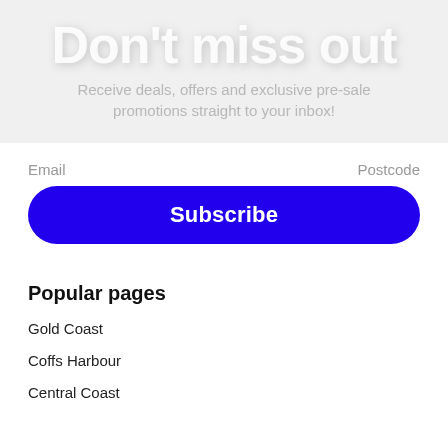Don't miss out
Receive deals, offers and exclusive pre-sale promotions straight to your inbox!
Email    Postcode
Subscribe
Popular pages
Gold Coast
Coffs Harbour
Central Coast